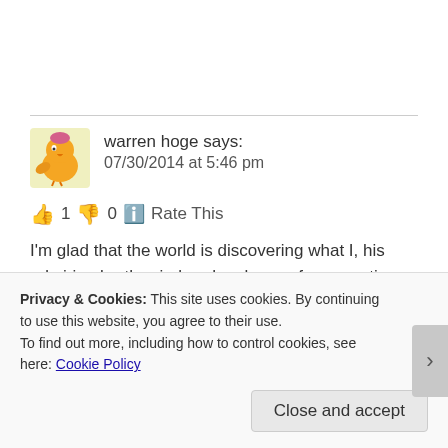warren hoge says:
07/30/2014 at 5:46 pm
👍 1 👎 0 ℹ️ Rate This
I'm glad that the world is discovering what I, his admiring brother-in-law, has known for some time — Cornelis is a superb photographer with a great celebratory spirit that illuminates all his work.
Privacy & Cookies: This site uses cookies. By continuing to use this website, you agree to their use.
To find out more, including how to control cookies, see here: Cookie Policy
Close and accept